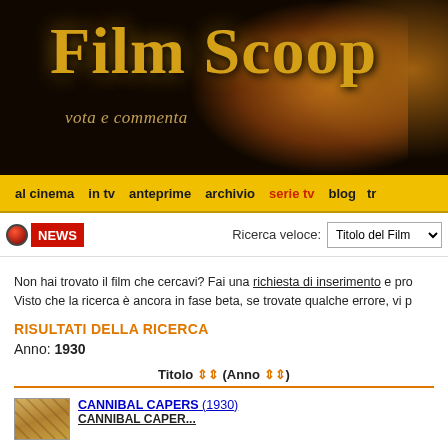[Figure (logo): Film Scoop website header banner with golden text on dark background, subtitle 'vota e commenta']
al cinema   in tv   anteprime   archivio   serie tv   blog   tr
NEWS   Ricerca veloce: Titolo del Film [dropdown]
Non hai trovato il film che cercavi? Fai una richiesta di inserimento e pro Visto che la ricerca è ancora in fase beta, se trovate qualche errore, vi p
RISULTATI DELLA RICERCA
Anno: 1930
Titolo ↕↕ (Anno ↕↕)
CANNIBAL CAPERS (1930) CANNIBAL CAPER...